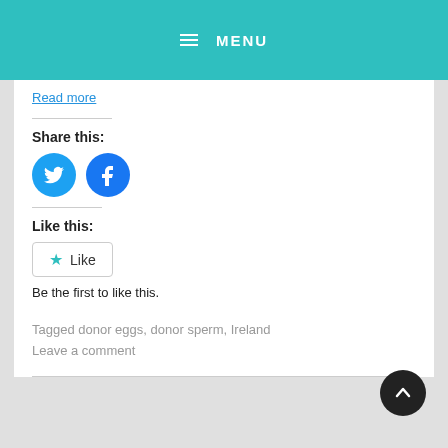≡ MENU
travel abroad from Ireland and the UK just for egg donations.
Read more
Share this:
[Figure (illustration): Twitter bird icon (blue circle) and Facebook 'f' icon (blue circle) social sharing buttons]
Like this:
[Figure (illustration): Like button with star icon]
Be the first to like this.
Tagged donor eggs, donor sperm, Ireland
Leave a comment